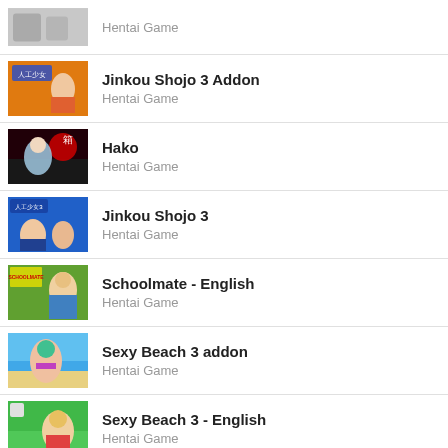Hentai Game
Jinkou Shojo 3 Addon
Hentai Game
Hako
Hentai Game
Jinkou Shojo 3
Hentai Game
Schoolmate - English
Hentai Game
Sexy Beach 3 addon
Hentai Game
Sexy Beach 3 - English
Hentai Game